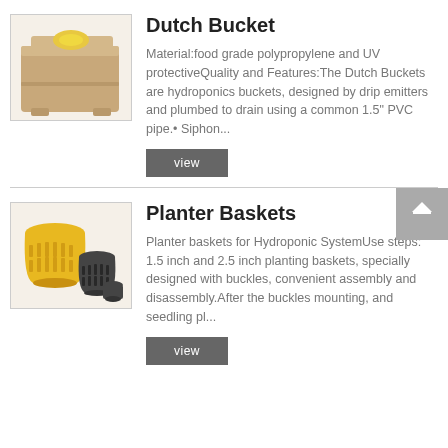[Figure (photo): Photo of a tan/beige Dutch Bucket hydroponic container with a yellow circular insert on top]
Dutch Bucket
Material:food grade polypropylene and UV protectiveQuality and Features:The Dutch Buckets are hydroponics buckets, designed by drip emitters and plumbed to drain using a common 1.5" PVC pipe.• Siphon...
[Figure (photo): Photo of planter baskets: one large yellow basket and two smaller black baskets of different heights]
Planter Baskets
Planter baskets for Hydroponic SystemUse steps: 1.5 inch and 2.5 inch planting baskets, specially designed with buckles, convenient assembly and disassembly.After the buckles mounting, and seedling pl...